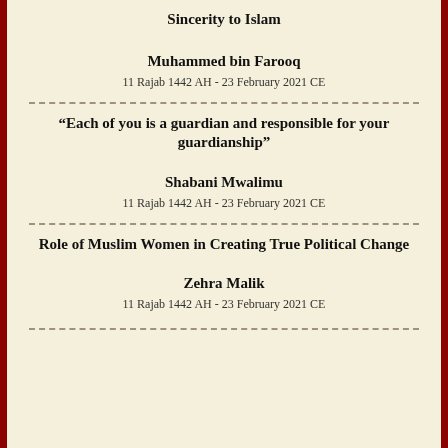Sincerity to Islam
Muhammed bin Farooq
11 Rajab 1442 AH - 23 February 2021 CE
“Each of you is a guardian and responsible for your guardianship”
Shabani Mwalimu
11 Rajab 1442 AH - 23 February 2021 CE
Role of Muslim Women in Creating True Political Change
Zehra Malik
11 Rajab 1442 AH - 23 February 2021 CE